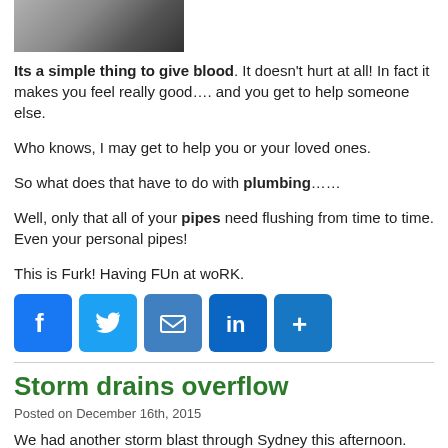[Figure (photo): Photo of someone giving blood, showing arm and blood donation equipment]
Its a simple thing to give blood. It doesn't hurt at all! In fact it makes you feel really good…. and you get to help someone else.
Who knows, I may get to help you or your loved ones.
So what does that have to do with plumbing……
Well, only that all of your pipes need flushing from time to time. Even your personal pipes!
This is Furk! Having FUn at woRK.
[Figure (infographic): Social media share buttons: Facebook, Twitter, Email, LinkedIn, More]
Storm drains overflow
Posted on December 16th, 2015
We had another storm blast through Sydney this afternoon.